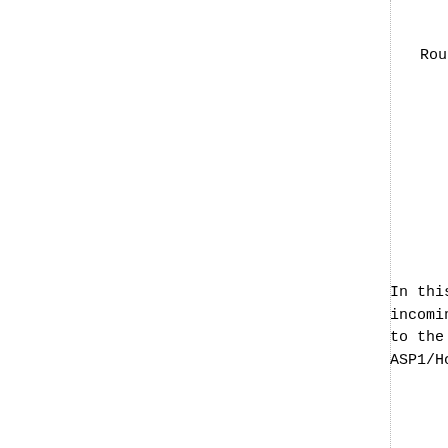Routing Key {DPC=x} -
ASP1/Host3 - State
ASP1/Host4 - State
In this "1+1" redundancy c incoming message with DPC= to the "active" state upon ASP1/Host1.
The AS List at SGP1 in Hos
Routing Key {DPC=x} - "
ASP1/Host3 - State =
ASP1/Host4 - State =
In this case, both the ASP For example, the two ASPs incoming queries may be se
Care might need to be exer selection of the routing k